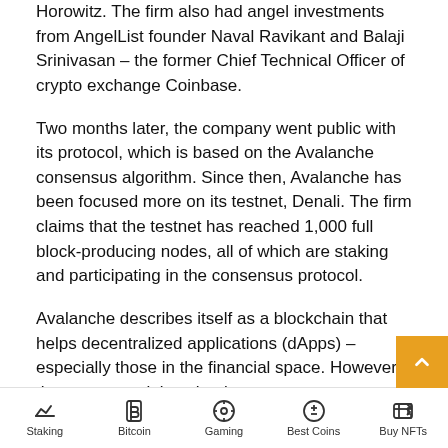Horowitz. The firm also had angel investments from AngelList founder Naval Ravikant and Balaji Srinivasan – the former Chief Technical Officer of crypto exchange Coinbase.
Two months later, the company went public with its protocol, which is based on the Avalanche consensus algorithm. Since then, Avalanche has been focused more on its testnet, Denali. The firm claims that the testnet has reached 1,000 full block-producing nodes, all of which are staking and participating in the consensus protocol.
Avalanche describes itself as a blockchain that helps decentralized applications (dApps) – especially those in the financial space. However, the company claims that its new consensus algorithm can achieve higher speeds than top blockchain options – including Ethereum. Thus, it is more appropriate for applications than any of its...
Staking | Bitcoin | Gaming | Best Coins | Buy NFTs